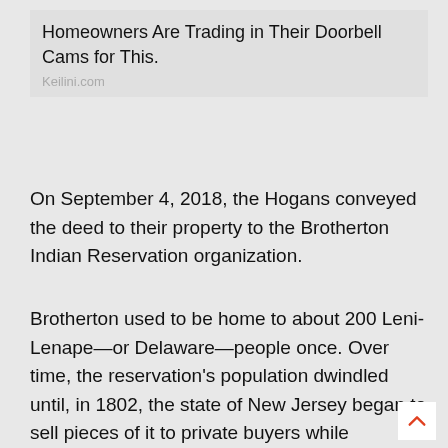Homeowners Are Trading in Their Doorbell Cams for This.
Keilini.com
On September 4, 2018, the Hogans conveyed the deed to their property to the Brotherton Indian Reservation organization.
Brotherton used to be home to about 200 Leni-Lenape—or Delaware—people once. Over time, the reservation's population dwindled until, in 1802, the state of New Jersey began to sell pieces of it to private buyers while residents migrated to other indigenous communities.